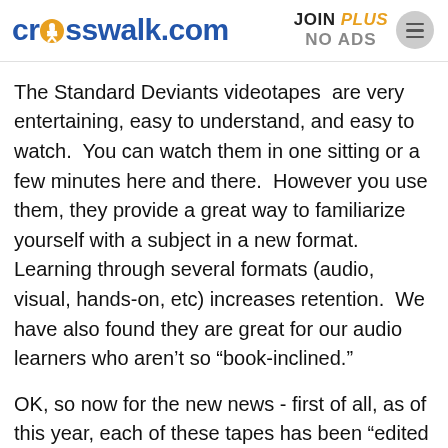crosswalk.com | JOIN PLUS NO ADS
The Standard Deviants videotapes  are very entertaining, easy to understand, and easy to watch.  You can watch them in one sitting or a few minutes here and there.  However you use them, they provide a great way to familiarize yourself with a subject in a new format.  Learning through several formats (audio, visual, hands-on, etc) increases retention.  We have also found they are great for our audio learners who aren’t so “book-inclined.”
OK, so now for the new news - first of all, as of this year, each of these tapes has been “edited for all audiences” by Mary Pride so they are family friendly!  Secondly, most titles are now available on DVD.  For those of you who are DVD illiterate (which we were until a few months ago), this format has options not available on videos